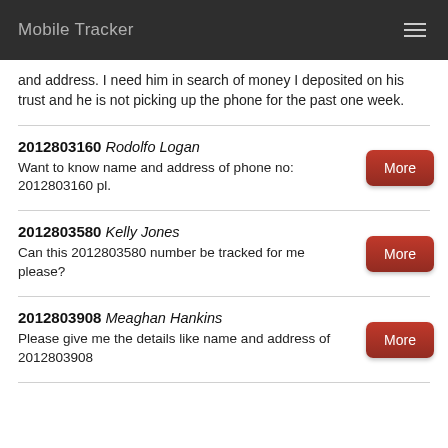Mobile Tracker
and address. I need him in search of money I deposited on his trust and he is not picking up the phone for the past one week.
2012803160 Rodolfo Logan
Want to know name and address of phone no: 2012803160 pl.
2012803580 Kelly Jones
Can this 2012803580 number be tracked for me please?
2012803908 Meaghan Hankins
Please give me the details like name and address of 2012803908